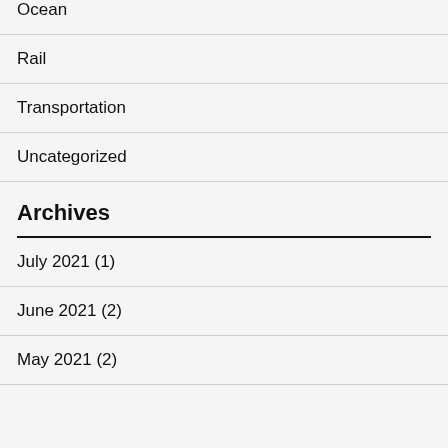Ocean
Rail
Transportation
Uncategorized
Archives
July 2021 (1)
June 2021 (2)
May 2021 (2)